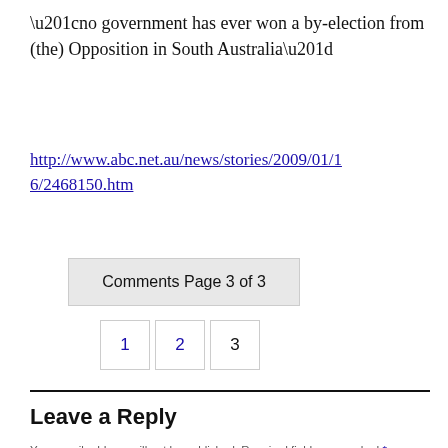“no government has ever won a by-election from (the) Opposition in South Australia”
http://www.abc.net.au/news/stories/2009/01/16/2468150.htm
Comments Page 3 of 3
1 2 3
Leave a Reply
Your email address will not be published. Required fields are marked *